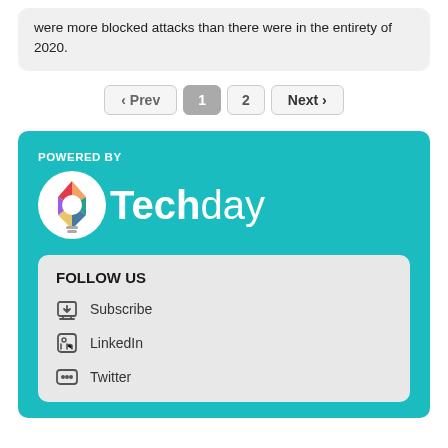were more blocked attacks than there were in the entirety of 2020.
‹ Prev  1  2  Next ›
POWERED BY
[Figure (logo): Techday logo with colorful lightbulb icon and white text reading 'Techday']
FOLLOW US
Subscribe
LinkedIn
Twitter